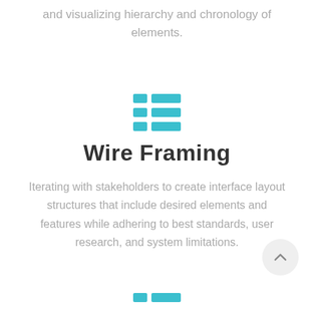and visualizing hierarchy and chronology of elements.
[Figure (illustration): A teal/cyan list-view icon made of two columns of three horizontal bars]
Wire Framing
Iterating with stakeholders to create interface layout structures that include desired elements and features while adhering to best standards, user research, and system limitations.
[Figure (illustration): A teal/cyan list-view icon partially visible at bottom of page]